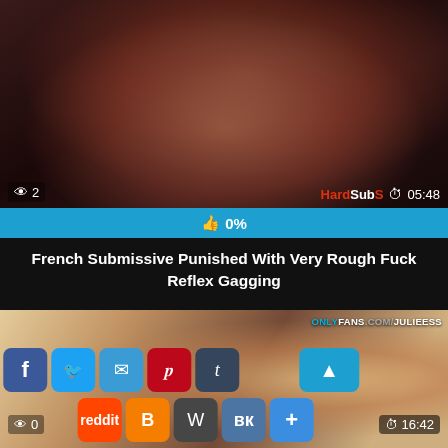[Figure (screenshot): Video thumbnail showing dark-toned close-up with overlay: eye icon '2' on left, HardSubS brand and clock '05:48' on right]
👁 2   HardSubS ⏱ 05:48
👍 0%
French Submissive Punished With Very Rough Fuck Reflex Gagging
[Figure (screenshot): Second video thumbnail with social share buttons overlay: Facebook, Twitter, Email, Pinterest, Tumblr, up arrow, Reddit, Blogger, WordPress, VK, plus. Eye '0' bottom left, clock '16:42' bottom right. Watermark: ONLYFANS.COM/JULIEESS]
👁 0   ⏱ 16:42